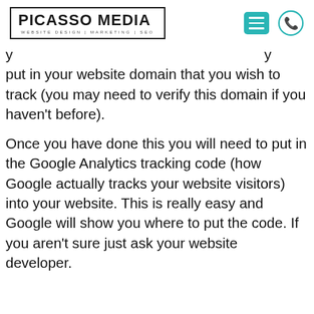PICASSO MEDIA — WEBSITE DESIGN | MARKETING | SEO
put in your website domain that you wish to track (you may need to verify this domain if you haven't before).
Once you have done this you will need to put in the Google Analytics tracking code (how Google actually tracks your website visitors) into your website. This is really easy and Google will show you where to put the code. If you aren't sure just ask your website developer.